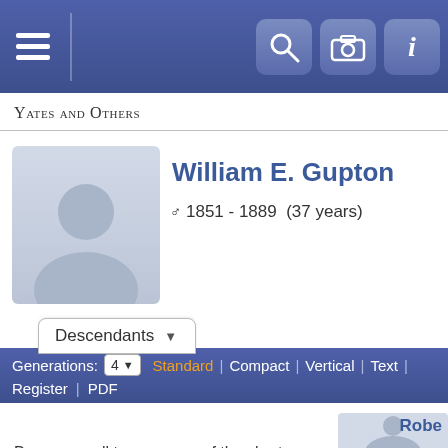Yates and Others
[Figure (photo): Silhouette placeholder photo of a person (male, gray)]
William E. Gupton
♂ 1851 - 1889  (37 years)
Descendants ▾
Generations: 4 ▾  Standard | Compact | Vertical | Text | Register | PDF
Drag or scroll to see more of the chart.
[Figure (screenshot): Zoom in, 1:1, zoom out icon buttons]
Robe